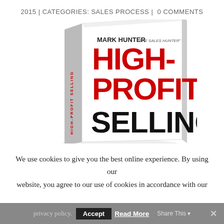2015 | CATEGORIES: SALES PROCESS | 0 COMMENTS
[Figure (photo): Book cover of 'High-Profit Selling' by Mark Hunter 'The Sales Hunter', shown as a 3D tilted book with red and black text on a white cover with spine showing 'High-Profit Selling']
We use cookies to give you the best online experience. By using our website, you agree to our use of cookies in accordance with our privacy policy.
Accept   Read More   Share This   ×